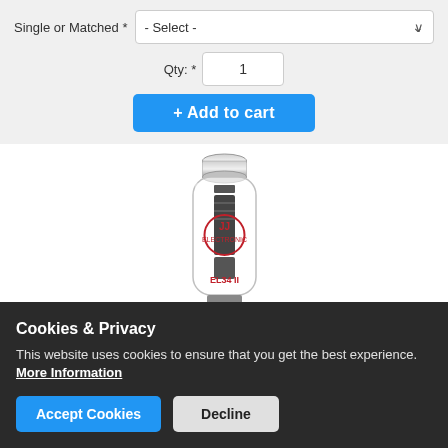Single or Matched *
- Select -
Qty: *
1
+ Add to cart
[Figure (photo): A vacuum tube (electron tube) with a clear glass envelope, internal metal components visible, with a circular red JJ logo and text EL34 II at the bottom. The tube has a chrome/silver top cap.]
Cookies & Privacy
This website uses cookies to ensure that you get the best experience.
More Information
Accept Cookies
Decline